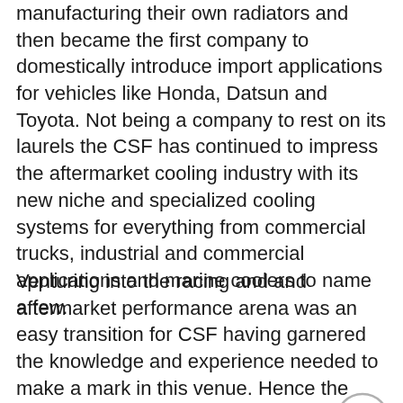manufacturing their own radiators and then became the first company to domestically introduce import applications for vehicles like Honda, Datsun and Toyota. Not being a company to rest on its laurels the CSF has continued to impress the aftermarket cooling industry with its new niche and specialized cooling systems for everything from commercial trucks, industrial and commercial applications and marine coolers to name a few.
Venturing into the racing and and aftermarket performance arena was an easy transition for CSF having garnered the knowledge and experience needed to make a mark in this venue. Hence the formulation of the High Performance Division of CSF whose job it is to design and build primo cooling systems that are second to none with a line that includes high performance direct fit replacement radiators to custom fit applications